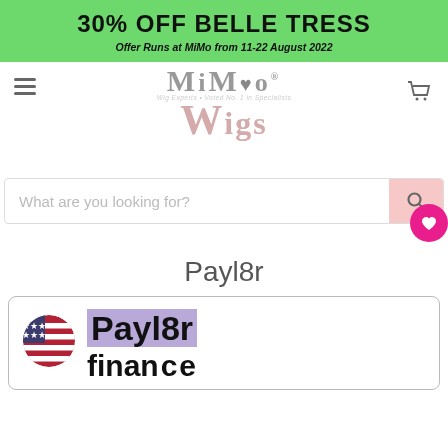30% OFF BELLE TRESS
Offer Runs at MiMo from 11-22 August 2022
[Figure (logo): MiMo Wigs logo with hamburger menu and cart icon]
What are you looking for?
Payl8r
[Figure (logo): Payl8r finance logo with US flag icon and Payl8r finance text on purple highlight]